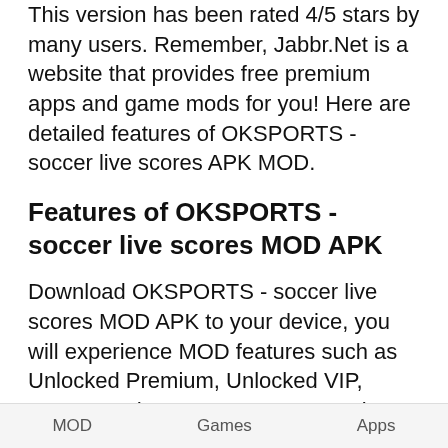This version has been rated 4/5 stars by many users. Remember, Jabbr.Net is a website that provides free premium apps and game mods for you! Here are detailed features of OKSPORTS - soccer live scores APK MOD.
Features of OKSPORTS - soccer live scores MOD APK
Download OKSPORTS - soccer live scores MOD APK to your device, you will experience MOD features such as Unlocked Premium, Unlocked VIP, Remove Ads, Remove Logo, ... using paid features completely free.
MENU MOD
Unlocked Premium.
Unlocked VIP.
MOD   Games   Apps